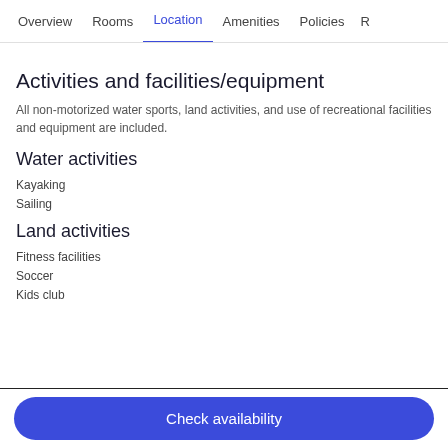Overview  Rooms  Location  Amenities  Policies  R
Activities and facilities/equipment
All non-motorized water sports, land activities, and use of recreational facilities and equipment are included.
Water activities
Kayaking
Sailing
Land activities
Fitness facilities
Soccer
Kids club
Check availability